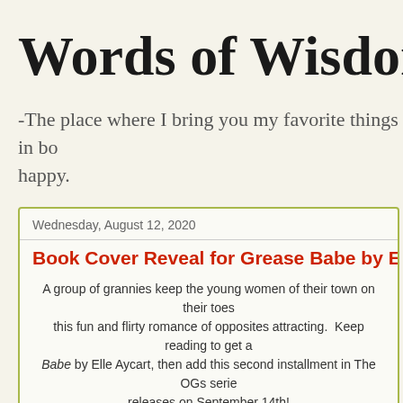Words of Wisdom...fr
-The place where I bring you my favorite things in bo happy.
Wednesday, August 12, 2020
Book Cover Reveal for Grease Babe by Elle Ay
A group of grannies keep the young women of their town on their toes this fun and flirty romance of opposites attracting.  Keep reading to get a Babe by Elle Aycart, then add this second installment in The OGs serie releases on September 14th!
[Figure (photo): Two people working together, photo showing hands and striped clothing with bright light]
Alden is not only home to the but also to the OGs, three hi grandmas who believe age is their success helping one gra